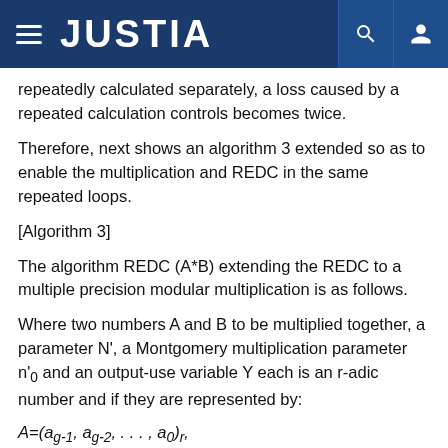JUSTIA
repeatedly calculated separately, a loss caused by a repeated calculation controls becomes twice.
Therefore, next shows an algorithm 3 extended so as to enable the multiplication and REDC in the same repeated loops.
[Algorithm 3]
The algorithm REDC (A*B) extending the REDC to a multiple precision modular multiplication is as follows.
Where two numbers A and B to be multiplied together, a parameter N', a Montgomery multiplication parameter n'0 and an output-use variable Y each is an r-adic number and if they are represented by: